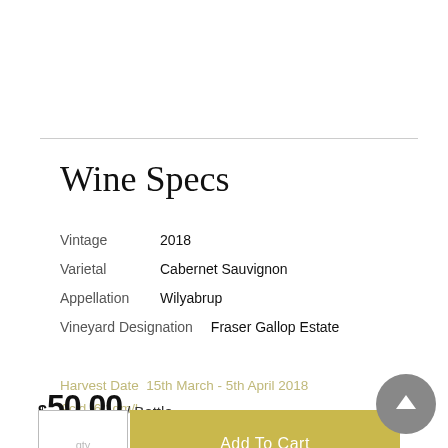Wine Specs
Vintage  2018
Varietal  Cabernet Sauvignon
Appellation  Wilyabrup
Vineyard Designation  Fraser Gallop Estate
Harvest Date  15th March - 5th April 2018
Acid  6.1gm/l
$50.00 / Bottle
pH  3.58
Aging  10 years
Bottling Date  20th November 2019